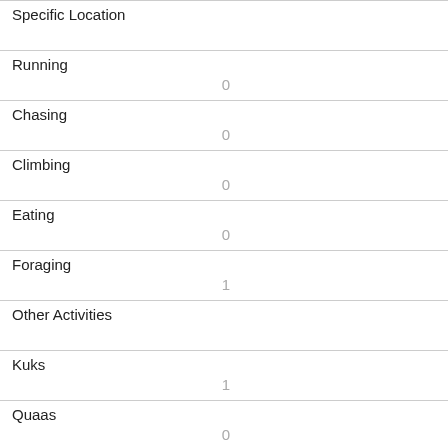| Field | Value |
| --- | --- |
| Specific Location |  |
| Running | 0 |
| Chasing | 0 |
| Climbing | 0 |
| Eating | 0 |
| Foraging | 1 |
| Other Activities |  |
| Kuks | 1 |
| Quaas | 0 |
| Moans | 0 |
| Tail flags |  |